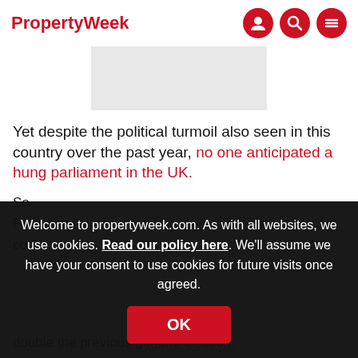[Figure (logo): Property Week logo in red]
[Figure (other): Navigation icons: user, search, menu on red circular backgrounds]
[Figure (other): Gray advertisement placeholder rectangle]
Yet despite the political turmoil also seen in this country over the past year, no one anticipated a hung parliament in the UK.
So... Fi... co...
A...
Un... ds at...
Welcome to propertyweek.com. As with all websites, we use cookies. Read our policy here. We'll assume we have your consent to use cookies for future visits once agreed.
double the previous general election.